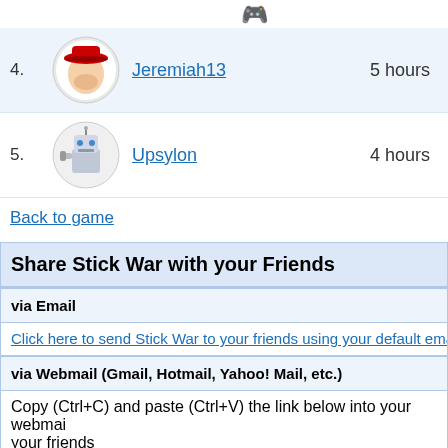4. Jeremiah13 5 hours
5. Upsylon 4 hours
Back to game
Share Stick War with your Friends
via Email
Click here to send Stick War to your friends using your default ema…
via Webmail (Gmail, Hotmail, Yahoo! Mail, etc.)
Copy (Ctrl+C) and paste (Ctrl+V) the link below into your webmai… your friends
http://www.bigfuntown.com/Game-1755.html